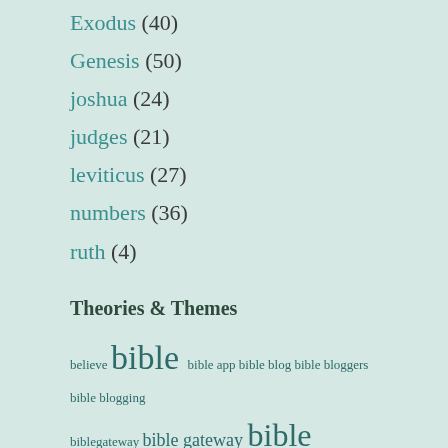Exodus (40)
Genesis (50)
joshua (24)
judges (21)
leviticus (27)
numbers (36)
ruth (4)
Theories & Themes
believe bible bible app bible blog bible bloggers bible blogging biblegateway bible gateway bible study ceremonial law change children of israel christianity death egypt evil faith father fear god holy ghost holy